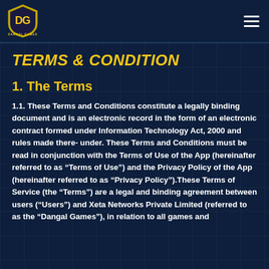Dangal Games
TERMS & CONDITION
1. The Terms
1.1. These Terms and Conditions constitute a legally binding document and is an electronic record in the form of an electronic contract formed under Information Technology Act, 2000 and rules made there- under. These Terms and Conditions must be read in conjunction with the Terms of Use of the App (hereinafter referred to as “Terms of Use”) and the Privacy Policy of the App (hereinafter referred to as “Privacy Policy”).These Terms of Service (the “Terms”) are a legal and binding agreement between users (“Users”) and Xeta Networks Private Limited (referred to as the “Dangal Games”), in relation to all games and